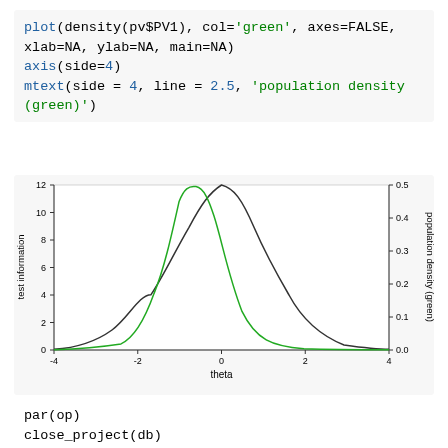plot(density(pv$PV1), col='green', axes=FALSE, xlab=NA, ylab=NA, main=NA)
axis(side=4)
mtext(side = 4, line = 2.5, 'population density (green)')
[Figure (continuous-plot): A plot showing test information (black curve, left y-axis 0-12) and population density in green (right y-axis 0.0-0.5) against theta (x-axis -4 to 4). The black curve is a broad bell shape peaking near theta=0 at ~12. The green curve is a narrower bell shape peaking near theta=-0.5 at ~0.5.]
par(op)
close_project(db)